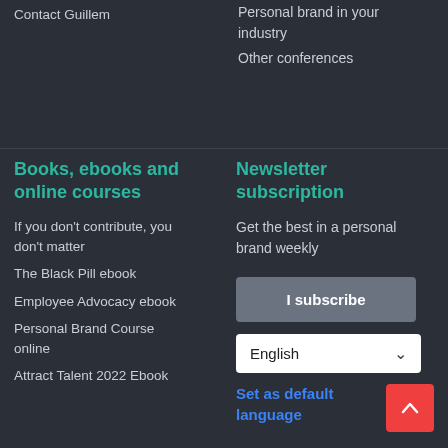Contact Guillem
Personal brand in your industry
Other conferences
Books, ebooks and online courses
If you don't contribute, you don't matter
The Black Pill ebook
Employee Advocacy ebook
Personal Brand Course online
Attract Talent 2022 Ebook
Newsletter subscription
Get the best in a personal brand weekly
I subscribe
English
Set as default language